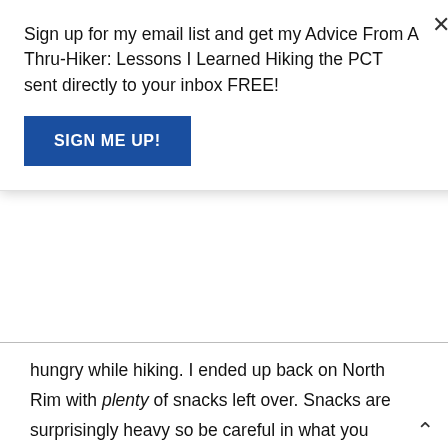Sign up for my email list and get my Advice From A Thru-Hiker: Lessons I Learned Hiking the PCT sent directly to your inbox FREE!
SIGN ME UP!
hungry while hiking. I ended up back on North Rim with plenty of snacks left over. Snacks are surprisingly heavy so be careful in what you decide to pack.
What snacks should you bring for the hike? Only you can answer that. Bring snacks you will want to eat. Trust me, you'll want to eat way more food than you think you will. You'll need to keep fueling the furnace along the way with all of the calories you'll burn hiking. This is NOT the time to go on a fast or a diet. Give your body the energy it needs. You can pack fruit